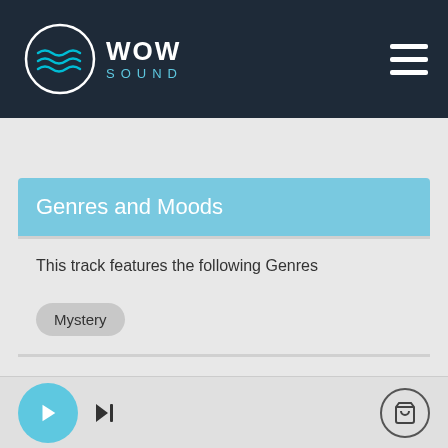[Figure (logo): WOW SOUND logo with circular wave icon and hamburger menu icon on dark navy header]
Genres and Moods
This track features the following Genres
Mystery
This track features the following Moods
Adventurous
Dark
Eerie
Grand
Suspenseful